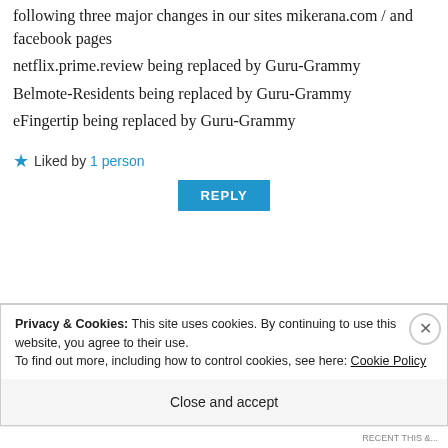following three major changes in our sites mikerana.com / and facebook pages
netflix.prime.review being replaced by Guru-Grammy
Belmote-Residents being replaced by Guru-Grammy
eFingertip being replaced by Guru-Grammy
★ Liked by 1 person
REPLY
Privacy & Cookies: This site uses cookies. By continuing to use this website, you agree to their use. To find out more, including how to control cookies, see here: Cookie Policy
Close and accept